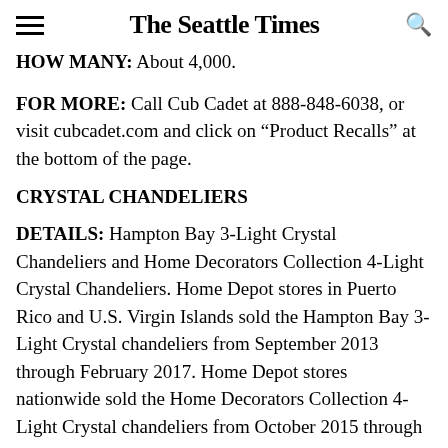The Seattle Times
HOW MANY: About 4,000.
FOR MORE: Call Cub Cadet at 888-848-6038, or visit cubcadet.com and click on “Product Recalls” at the bottom of the page.
CRYSTAL CHANDELIERS
DETAILS: Hampton Bay 3-Light Crystal Chandeliers and Home Decorators Collection 4-Light Crystal Chandeliers. Home Depot stores in Puerto Rico and U.S. Virgin Islands sold the Hampton Bay 3-Light Crystal chandeliers from September 2013 through February 2017. Home Depot stores nationwide sold the Home Decorators Collection 4-Light Crystal chandeliers from October 2015 through February 2017.